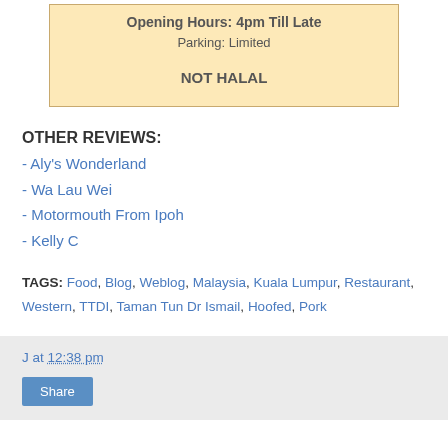[Figure (infographic): Beige info box with text: Opening Hours: 4pm Till Late, Parking: Limited, NOT HALAL]
OTHER REVIEWS:
- Aly's Wonderland
- Wa Lau Wei
- Motormouth From Ipoh
- Kelly C
TAGS: Food, Blog, Weblog, Malaysia, Kuala Lumpur, Restaurant, Western, TTDI, Taman Tun Dr Ismail, Hoofed, Pork
J at 12:38 pm Share